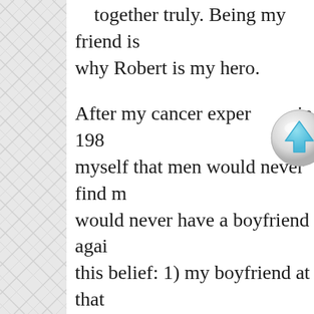together truly. Being my friend is why Robert is my hero.
[Figure (other): A circular scroll-up button with a light blue upward arrow on a rounded gray/white glossy button]
After my cancer experience in 1988, I told myself that men would never find me attractive, I would never have a boyfriend again. Two things fed this belief: 1) my boyfriend at that time left a month after my cancer diagnosis and 2) I was like some kind of weird science experiment, bald from chemotherapy and wearing a wig, totally fatigued from Hepatitis C and in premature menopause.